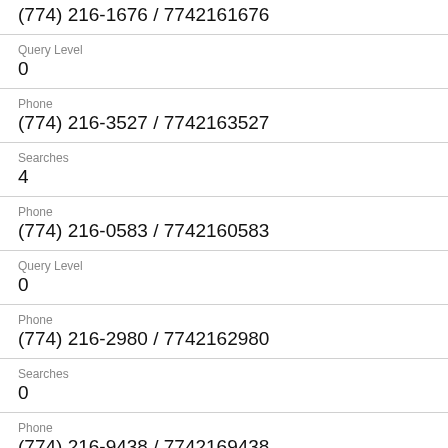(774) 216-1676 / 7742161676
Query Level
0
Phone
(774) 216-3527 / 7742163527
Searches
4
Phone
(774) 216-0583 / 7742160583
Query Level
0
Phone
(774) 216-2980 / 7742162980
Searches
0
Phone
(774) 216-9438 / 7742169438
Query Level
0